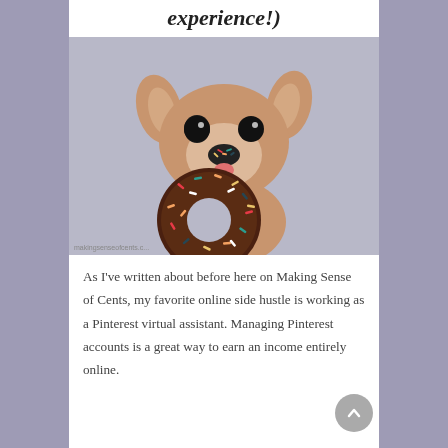experience!)
[Figure (photo): A chihuahua dog holding a large chocolate sprinkle donut, with sprinkles on its nose, looking at the camera against a gray background.]
As I've written about before here on Making Sense of Cents, my favorite online side hustle is working as a Pinterest virtual assistant. Managing Pinterest accounts is a great way to earn an income entirely online.